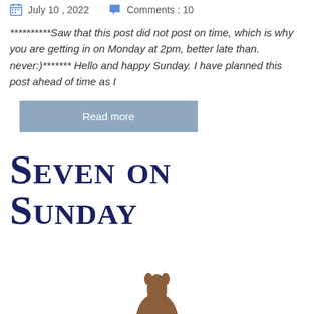July 10 , 2022   Comments : 10
**********Saw that this post did not post on time, which is why you are getting in on Monday at 2pm, better late than. never:)******* Hello and happy Sunday. I have planned this post ahead of time as I
Read more
Seven on Sunday
[Figure (photo): Partial silhouette of an animal (appears to be a dog or cat) visible at bottom of page]